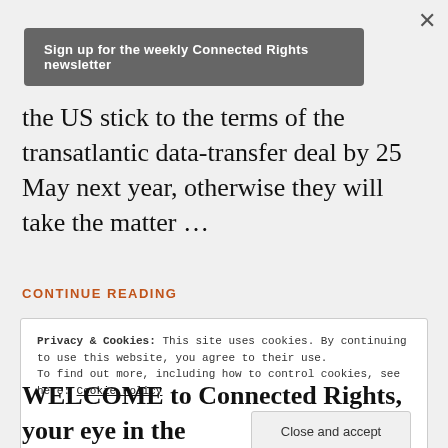×
Sign up for the weekly Connected Rights newsletter
the US stick to the terms of the transatlantic data-transfer deal by 25 May next year, otherwise they will take the matter …
CONTINUE READING
Privacy & Cookies: This site uses cookies. By continuing to use this website, you agree to their use.
To find out more, including how to control cookies, see here: Cookie Policy
Close and accept
WELCOME to Connected Rights, your eye in the